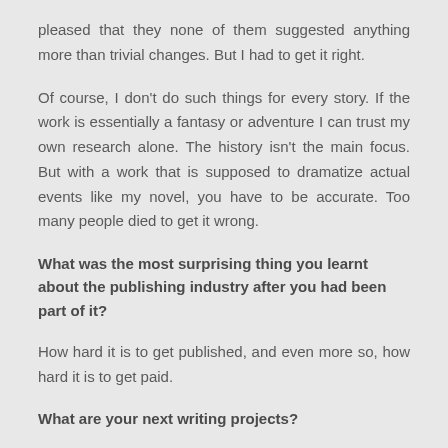pleased that they none of them suggested anything more than trivial changes. But I had to get it right.
Of course, I don't do such things for every story. If the work is essentially a fantasy or adventure I can trust my own research alone. The history isn't the main focus. But with a work that is supposed to dramatize actual events like my novel, you have to be accurate. Too many people died to get it wrong.
What was the most surprising thing you learnt about the publishing industry after you had been part of it?
How hard it is to get published, and even more so, how hard it is to get paid.
What are your next writing projects?